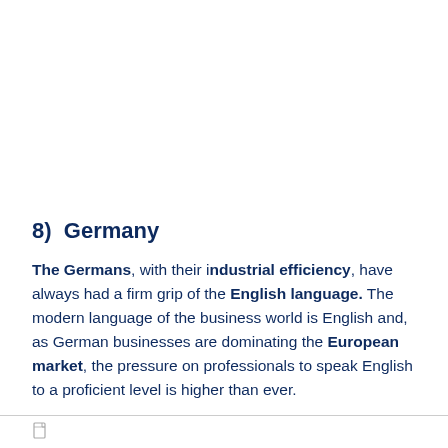8)  Germany
The Germans, with their industrial efficiency, have always had a firm grip of the English language. The modern language of the business world is English and, as German businesses are dominating the European market, the pressure on professionals to speak English to a proficient level is higher than ever.